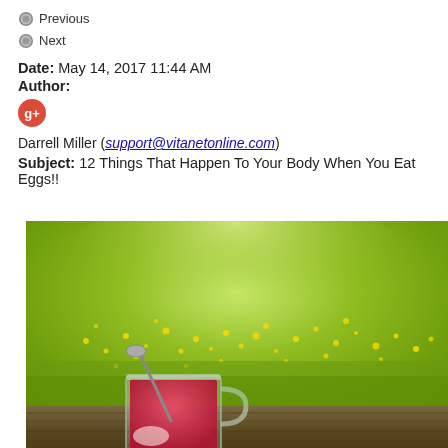Previous
Next
Date: May 14, 2017 11:44 AM
Author:
[Figure (logo): Google+ icon, red circle with G+]
Darrell Miller (support@vitanetonline.com)
Subject: 12 Things That Happen To Your Body When You Eat Eggs!!
[Figure (photo): A glass mug of red tea with a spoon, set on a wooden table in front of a field of yellow flowers with a green bokeh background.]